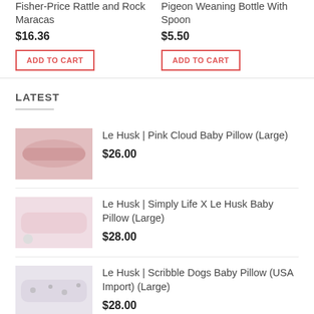Fisher-Price Rattle and Rock Maracas
$16.36
ADD TO CART
Pigeon Weaning Bottle With Spoon
$5.50
ADD TO CART
LATEST
Le Husk | Pink Cloud Baby Pillow (Large) $26.00
Le Husk | Simply Life X Le Husk Baby Pillow (Large) $28.00
Le Husk | Scribble Dogs Baby Pillow (USA Import) (Large) $28.00